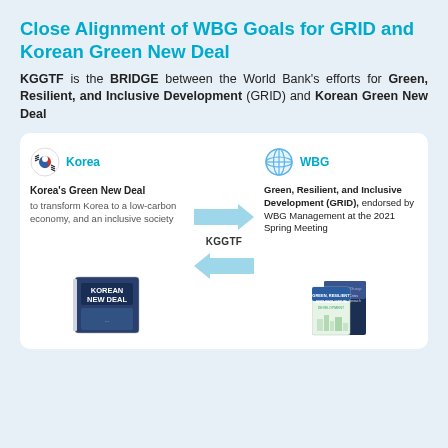Close Alignment of WBG Goals for GRID and Korean Green New Deal
KGGTF is the BRIDGE between the World Bank's efforts for Green, Resilient, and Inclusive Development (GRID) and Korean Green New Deal
[Figure (infographic): Diagram showing KGGTF as bridge between Korea (Korean Green New Deal) on left and WBG (Green, Resilient, and Inclusive Development (GRID)) on right. Two horizontal arrows labeled KGGTF point in both directions between the two panels. Left panel shows Korea flag logo, Korea's Green New Deal text, description, and Korean New Deal book cover. Right panel shows WBG globe logo, GRID description text, and two WBG publication covers.]